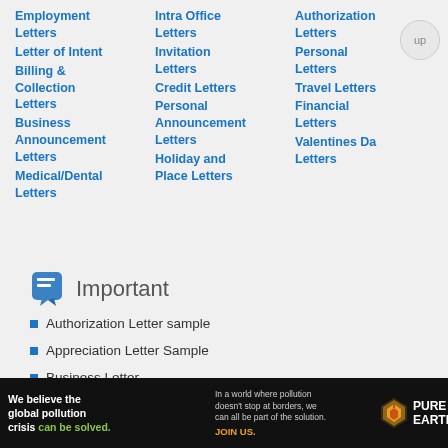Employment Letters
Letter of Intent
Billing & Collection Letters
Business Announcement Letters
Medical/Dental Letters
Intra Office Letters
Invitation Letters
Credit Letters
Personal Announcement Letters
Holiday and Place Letters
Authorization Letters
Personal Letters
Travel Letters
Financial Letters
Valentines Da Letters
Important
Authorization Letter sample
Appreciation Letter Sample
Business Letter
Business Announcement Letters
Holidays and Place
[Figure (other): Pure Earth advertisement banner: 'We believe the global pollution crisis can be solved.' with JOIN US call to action]